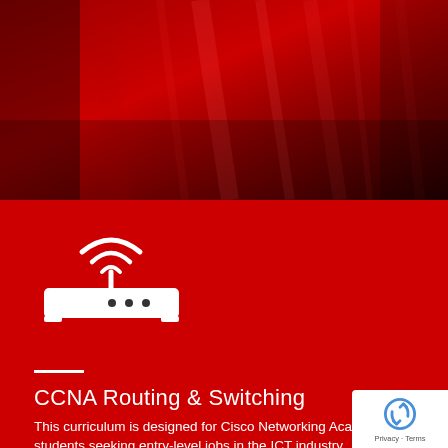[Figure (photo): Dark red textured background photo with vertical light streaks, filling the top half of the page]
[Figure (illustration): White router/wireless icon showing a rectangular router device with an antenna and WiFi signal arcs above it, on a red background]
CCNA Routing & Switching
This curriculum is designed for Cisco Networking Academy® students seeking entry-level jobs in the ICT industry